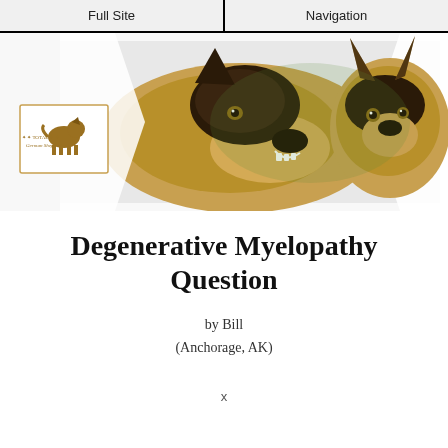Full Site | Navigation
[Figure (photo): Banner image showing two German Shepherd dogs – an adult and a puppy – with a Total German Shepherd logo overlay on the left side]
Degenerative Myelopathy Question
by Bill
(Anchorage, AK)